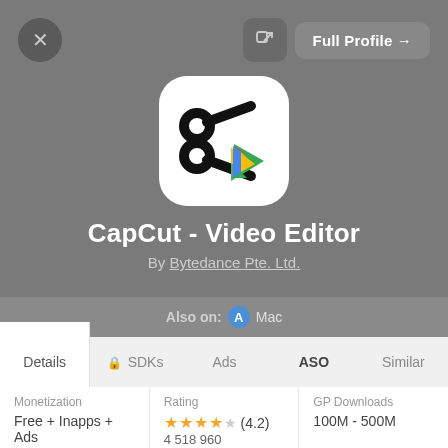[Figure (screenshot): CapCut - Video Editor app profile page screenshot showing app icon, name, developer, tabs, and stats]
CapCut - Video Editor
By Bytedance Pte. Ltd.
Also on: Mac
Details  SDKs  Ads  ASO  Similar
| Monetization | Rating | GP Downloads |
| --- | --- | --- |
| Free + Inapps + Ads | ★★★★☆ (4.2)
4,518,960 | 100M - 500M |